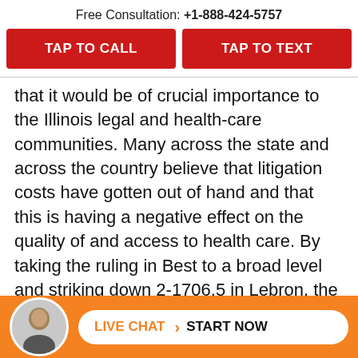Free Consultation: +1-888-424-5757
[Figure (other): Two red call-to-action buttons: TAP TO CALL and TAP TO TEXT]
that it would be of crucial importance to the Illinois legal and health-care communities. Many across the state and across the country believe that litigation costs have gotten out of hand and that this is having a negative effect on the quality of and access to health care. By taking the ruling in Best to a broad level and striking down 2-1706.5 in Lebron, the Illinois Supreme Court took a legal, reasoned position on the opposite side of those critics, stating that the legislature could not cap
[Figure (other): Orange footer bar with avatar photo and Live Chat > Start Now button]